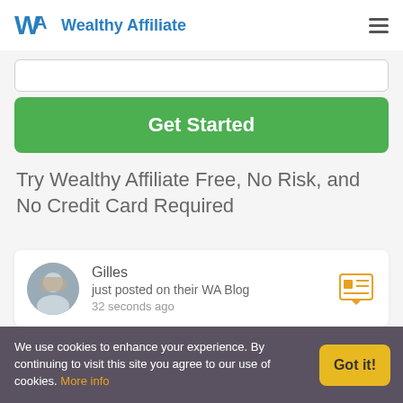Wealthy Affiliate
Get Started
Try Wealthy Affiliate Free, No Risk, and No Credit Card Required
Gilles
just posted on their WA Blog
32 seconds ago
Majed
just posted on their WA Blog
We use cookies to enhance your experience. By continuing to visit this site you agree to our use of cookies. More info